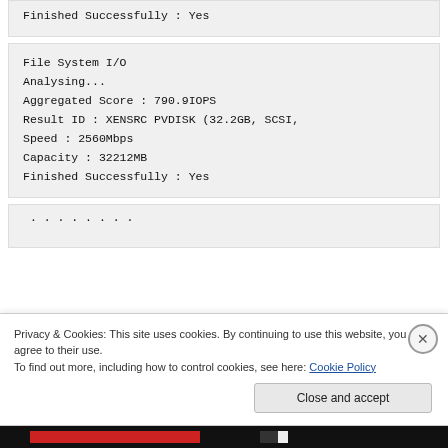Finished Successfully : Yes
File System I/O
Analysing...
Aggregated Score : 790.9IOPS
Result ID : XENSRC PVDISK (32.2GB, SCSI,
Speed : 2560Mbps
Capacity : 32212MB
Finished Successfully : Yes
Privacy & Cookies: This site uses cookies. By continuing to use this website, you agree to their use.
To find out more, including how to control cookies, see here: Cookie Policy
Close and accept